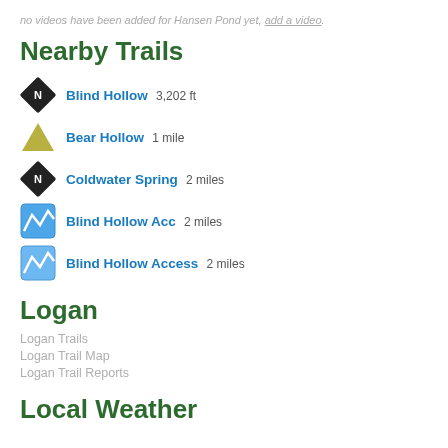no videos have been added for Hansen Pond yet, add a video.
Nearby Trails
Blind Hollow 3,202 ft
Bear Hollow 1 mile
Coldwater Spring 2 miles
Blind Hollow Acc 2 miles
Blind Hollow Access 2 miles
Logan
Logan Trails
Logan Trail Map
Logan Trail Reports
Local Weather